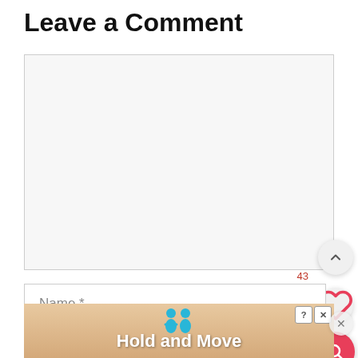Leave a Comment
[Figure (screenshot): Large empty comment text area with light gray background and border]
43
[Figure (screenshot): Name input field with placeholder text 'Name *']
[Figure (screenshot): Email input field with placeholder text 'Email *']
[Figure (screenshot): Advertisement banner at bottom showing 'Hold and Move' game with blue figures, close buttons (? X), and a close circle button on the right]